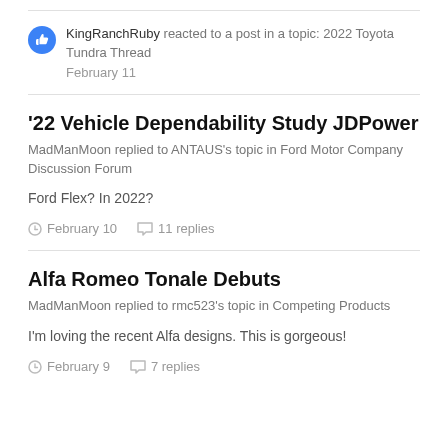KingRanchRuby reacted to a post in a topic: 2022 Toyota Tundra Thread
February 11
'22 Vehicle Dependability Study JDPower
MadManMoon replied to ANTAUS's topic in Ford Motor Company Discussion Forum
Ford Flex? In 2022?
February 10    11 replies
Alfa Romeo Tonale Debuts
MadManMoon replied to rmc523's topic in Competing Products
I'm loving the recent Alfa designs. This is gorgeous!
February 9    7 replies